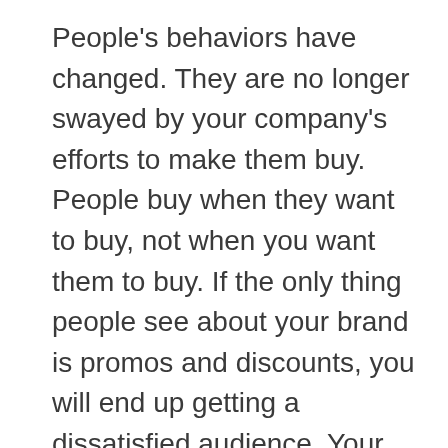People's behaviors have changed. They are no longer swayed by your company's efforts to make them buy. People buy when they want to buy, not when you want them to buy. If the only thing people see about your brand is promos and discounts, you will end up getting a dissatisfied audience. Your brand will be thought of as cheap and incapable of generating revenues without inducing a short-term demand. If this persists, you will not build any credibility. Your audience will not trust you. At some point, you will no longer be able to sell anything at a regular price. People will learn that every other week